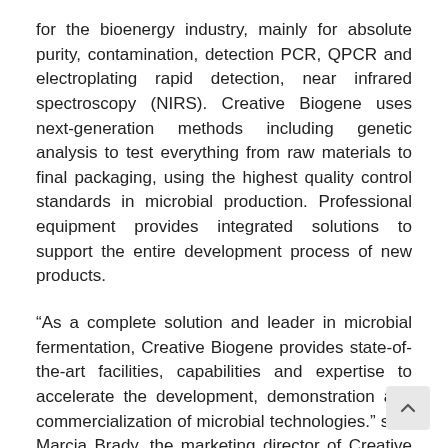for the bioenergy industry, mainly for absolute purity, contamination, detection PCR, QPCR and electroplating rapid detection, near infrared spectroscopy (NIRS). Creative Biogene uses next-generation methods including genetic analysis to test everything from raw materials to final packaging, using the highest quality control standards in microbial production. Professional equipment provides integrated solutions to support the entire development process of new products.
“As a complete solution and leader in microbial fermentation, Creative Biogene provides state-of-the-art facilities, capabilities and expertise to accelerate the development, demonstration and commercialization of microbial technologies.” said Marcia Brady, the marketing director of Creative Biogene, she also added, “Creative Biogene provides customizable microbial fermentation services to support research, process development, preclinical studies.”